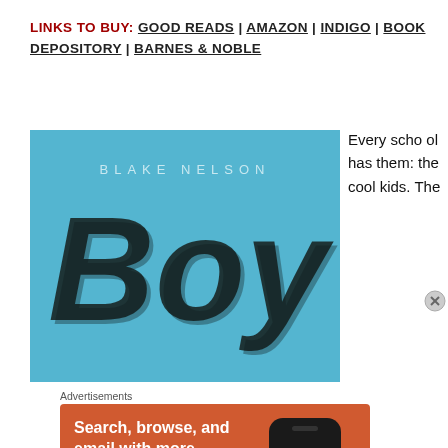LINKS TO BUY: GOOD READS | AMAZON | INDIGO | BOOK DEPOSITORY | BARNES & NOBLE
[Figure (photo): Book cover of 'Boy' by Blake Nelson. Blue background with large black graffiti-style text 'Boy' and author name 'BLAKE NELSON' at top.]
Every school has them: the cool kids. The
Advertisements
[Figure (infographic): DuckDuckGo advertisement banner with orange background. Text: 'Search, browse, and email with more privacy. All in One Free App'. Shows a smartphone with DuckDuckGo logo.]